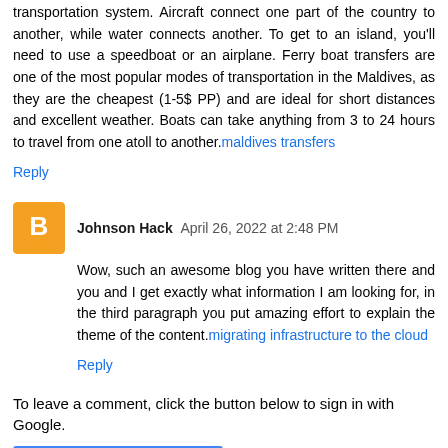The Maldives as a whole are not connected by any transportation system. Aircraft connect one part of the country to another, while water connects another. To get to an island, you'll need to use a speedboat or an airplane. Ferry boat transfers are one of the most popular modes of transportation in the Maldives, as they are the cheapest (1-5$ PP) and are ideal for short distances and excellent weather. Boats can take anything from 3 to 24 hours to travel from one atoll to another.maldives transfers
Reply
Johnson Hack  April 26, 2022 at 2:48 PM
Wow, such an awesome blog you have written there and you and I get exactly what information I am looking for, in the third paragraph you put amazing effort to explain the theme of the content.migrating infrastructure to the cloud
Reply
To leave a comment, click the button below to sign in with Google.